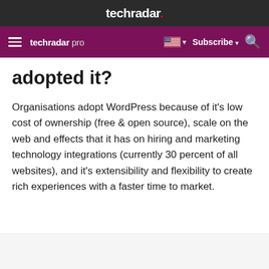techradar.
techradar pro  Subscribe
adopted it?
Organisations adopt WordPress because of it’s low cost of ownership (free & open source), scale on the web and effects that it has on hiring and marketing technology integrations (currently 30 percent of all websites), and it’s extensibility and flexibility to create rich experiences with a faster time to market.